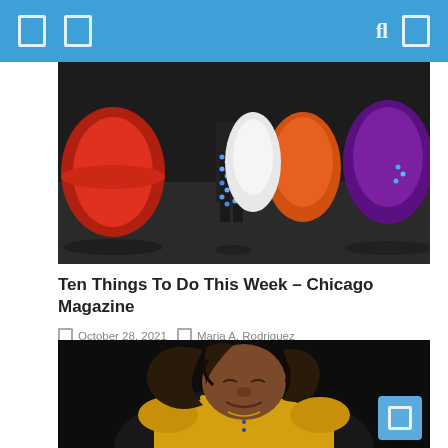Navigation header with icons
[Figure (photo): Dancers in colorful traditional costumes with light-decorated clothing at a nighttime street performance. Visible are vibrant red, orange, purple skirts and a performer with blue LED-lit legs/shoes.]
Ten Things To Do This Week – Chicago Magazine
October 28, 2021   Maria A. Rodriguez
[Figure (photo): Close-up of a woman in a yellow top with flowing dark hair, leaning forward with eyes closed and an expressive smile, photographed against a dark background.]